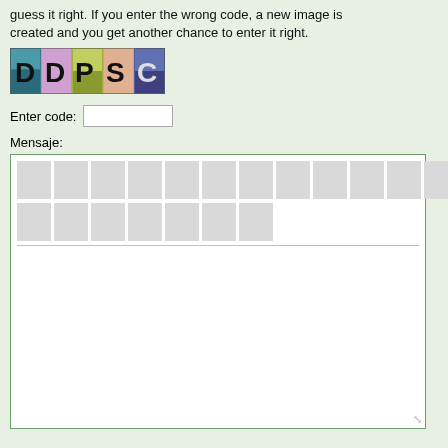guess it right. If you enter the wrong code, a new image is created and you get another chance to enter it right.
[Figure (screenshot): CAPTCHA image showing colored letter tiles: D D P S C on a multicolored pixelated background]
Enter code:
Mensaje:
[Figure (screenshot): A large text area (Mensaje) with two rows of grey character input cells at the top, a horizontal divider, and a resize handle at the bottom right.]